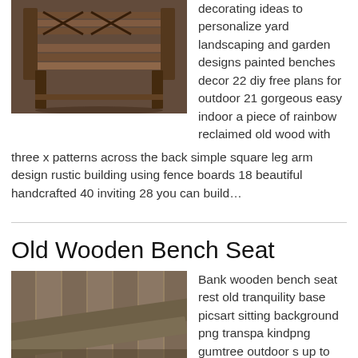[Figure (photo): Rustic wooden outdoor bench made from reclaimed wood with X patterns on the back and square legs]
decorating ideas to personalize yard landscaping and garden designs painted benches decor 22 diy free plans for outdoor 21 gorgeous easy indoor a piece of rainbow reclaimed old wood with three x patterns across the back simple square leg arm design rustic building using fence boards 18 beautiful handcrafted 40 inviting 28 you can build…
Old Wooden Bench Seat
[Figure (photo): Old wooden bench seat planks leaning against a wooden fence]
Bank wooden bench seat rest old tranquility base picsart sitting background png transpa kindpng gumtree outdoor s up to 70 off anales com antiques atlas